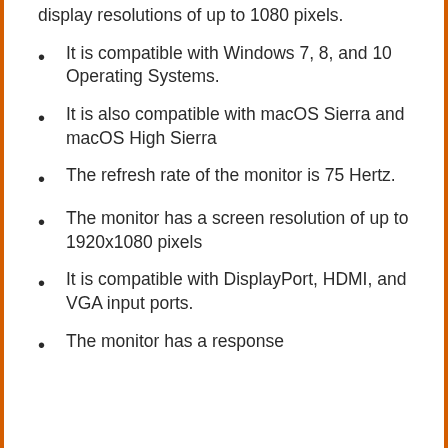display resolutions of up to 1080 pixels.
It is compatible with Windows 7, 8, and 10 Operating Systems.
It is also compatible with macOS Sierra and macOS High Sierra
The refresh rate of the monitor is 75 Hertz.
The monitor has a screen resolution of up to 1920x1080 pixels
It is compatible with DisplayPort, HDMI, and VGA input ports.
The monitor has a response